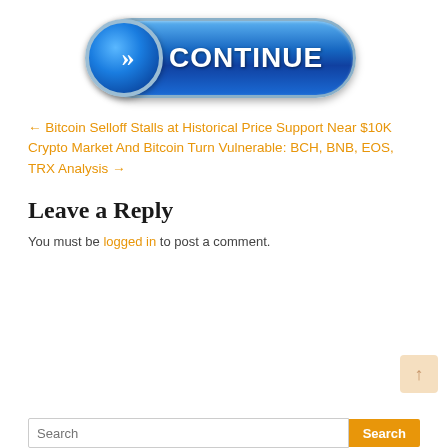[Figure (illustration): Blue glossy 'CONTINUE' button with a circular blue icon showing double chevrons (>>) on the left side]
← Bitcoin Selloff Stalls at Historical Price Support Near $10K
Crypto Market And Bitcoin Turn Vulnerable: BCH, BNB, EOS, TRX Analysis →
Leave a Reply
You must be logged in to post a comment.